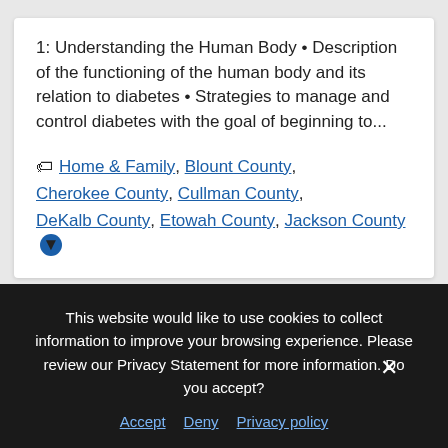1: Understanding the Human Body • Description of the functioning of the human body and its relation to diabetes • Strategies to manage and control diabetes with the goal of beginning to...
Home & Family, Blount County, Cherokee County, Cullman County, DeKalb County, Etowah County, Jackson County [dropdown]
This website would like to use cookies to collect information to improve your browsing experience. Please review our Privacy Statement for more information. Do you accept?
Accept  Deny  Privacy policy